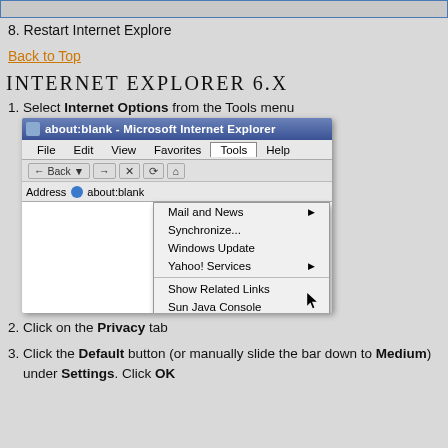[Figure (screenshot): Top portion of a browser window or UI element with blue border]
8. Restart Internet Explore
Back to Top
INTERNET EXPLORER 6.X
1. Select Internet Options from the Tools menu
[Figure (screenshot): Screenshot of Microsoft Internet Explorer 6 with the Tools menu open, showing options: Mail and News, Synchronize..., Windows Update, Yahoo! Services, Show Related Links, Sun Java Console, Internet Options... (highlighted)]
2. Click on the Privacy tab
3. Click the Default button (or manually slide the bar down to Medium) under Settings. Click OK